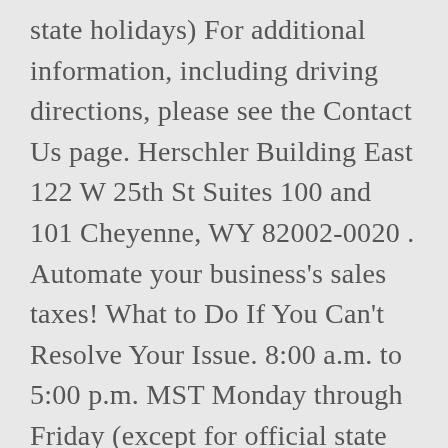state holidays) For additional information, including driving directions, please see the Contact Us page. Herschler Building East 122 W 25th St Suites 100 and 101 Cheyenne, WY 82002-0020 . Automate your business's sales taxes! What to Do If You Can't Resolve Your Issue. 8:00 a.m. to 5:00 p.m. MST Monday through Friday (except for official state holidays) Yes, any business entity doing business in Wyoming without authority will be liable for a penalty in the amount of $5,000 along with reasonable audit expenses and reasonable attorney fees. The mission of the Property Tax Division is to support, train, and guide local governmental agencies in the uniform assessment, valuation and taxation of